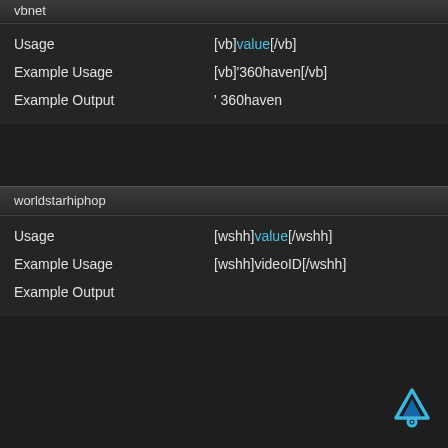vbnet
|  |  |
| --- | --- |
| Usage | [vb]value[/vb] |
| Example Usage | [vb]'360haven[/vb] |
| Example Output | ' 360haven |
worldstarhiphop
|  |  |
| --- | --- |
| Usage | [wshh]value[/wshh] |
| Example Usage | [wshh]videoID[/wshh] |
| Example Output |  |